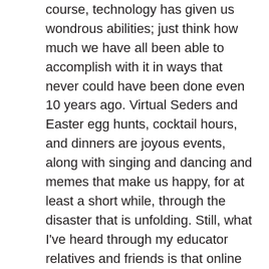course, technology has given us wondrous abilities; just think how much we have all been able to accomplish with it in ways that never could have been done even 10 years ago. Virtual Seders and Easter egg hunts, cocktail hours, and dinners are joyous events, along with singing and dancing and memes that make us happy, for at least a short while, through the disaster that is unfolding. Still, what I've heard through my educator relatives and friends is that online teaching isn't working quite so well.

Here's the thing: Our students need us. They need us to see them shake their heads, or disengage, or glaze over. They need us to stop them with a word outside the class, letting them know we see a problem. They need us to give them pep talks